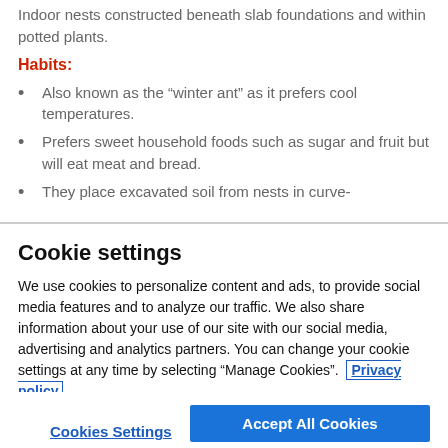Indoor nests constructed beneath slab foundations and within potted plants.
Habits:
Also known as the “winter ant” as it prefers cool temperatures.
Prefers sweet household foods such as sugar and fruit but will eat meat and bread.
They place excavated soil from nests in curve-
Cookie settings
We use cookies to personalize content and ads, to provide social media features and to analyze our traffic. We also share information about your use of our site with our social media, advertising and analytics partners. You can change your cookie settings at any time by selecting “Manage Cookies”.  Privacy policy
Cookies Settings
Accept All Cookies